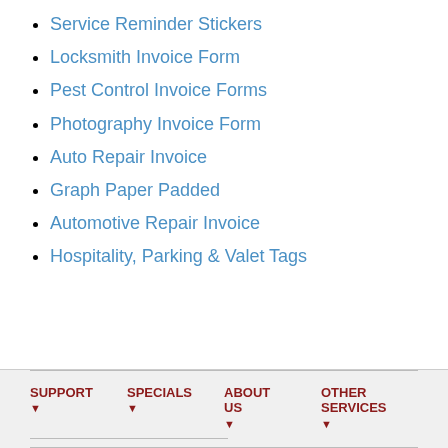Service Reminder Stickers
Locksmith Invoice Form
Pest Control Invoice Forms
Photography Invoice Form
Auto Repair Invoice
Graph Paper Padded
Automotive Repair Invoice
Hospitality, Parking & Valet Tags
SUPPORT | SPECIALS | ABOUT US | OTHER SERVICES